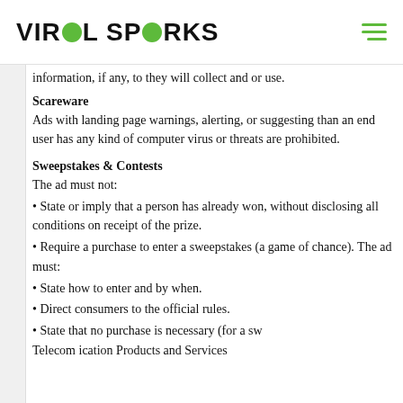VIRAL SPARKS
information, if any, to they will collect and or use.
Scareware
Ads with landing page warnings, alerting, or suggesting than an end user has any kind of computer virus or threats are prohibited.
Sweepstakes & Contests
The ad must not:
State or imply that a person has already won, without disclosing all conditions on receipt of the prize.
Require a purchase to enter a sweepstakes (a game of chance). The ad must:
State how to enter and by when.
Direct consumers to the official rules.
State that no purchase is necessary (for a sw
Telecom ication Products and Services